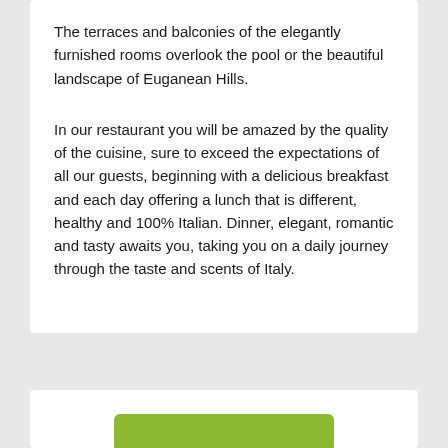The terraces and balconies of the elegantly furnished rooms overlook the pool or the beautiful landscape of Euganean Hills.
In our restaurant you will be amazed by the quality of the cuisine, sure to exceed the expectations of all our guests, beginning with a delicious breakfast and each day offering a lunch that is different, healthy and 100% Italian. Dinner, elegant, romantic and tasty awaits you, taking you on a daily journey through the taste and scents of Italy.
[Figure (other): Green 'Book This Hotel' button, partially visible at bottom of page]